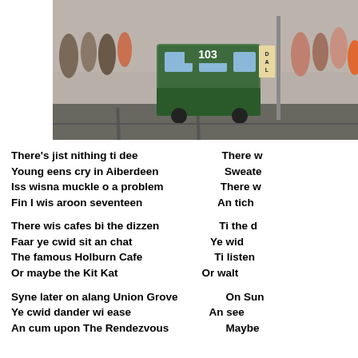[Figure (photo): A historic photograph of a tram numbered 103 on a street, with crowds of people visible in the background on both sides of the tram.]
There's jist nithing ti dee
Young eens cry in Aiberdeen
Iss wisna muckle o a problem
Fin I wis aroon seventeen

There wis cafes bi the dizzen
Faar ye cwid sit an chat
The famous Holburn Cafe
Or maybe the Kit Kat

Syne later on alang Union Grove
Ye cwid dander wi ease
An cum upon The Rendezvous
There w
Sweate
There w
An tich

Ti the d
Ye wid
Ti listen
Or walt

On Sun
An see
Maybe